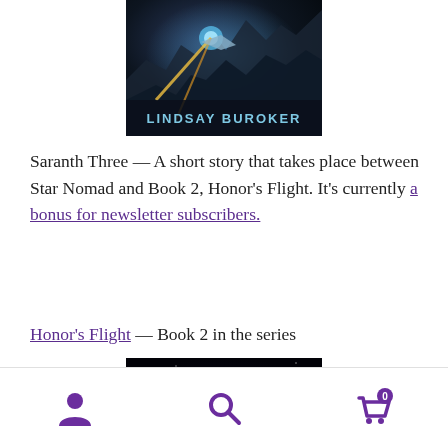[Figure (illustration): Book cover for a sci-fi novel showing dark space/alien scenery with text 'LINDSAY BUROKER' at the bottom]
Saranth Three — A short story that takes place between Star Nomad and Book 2, Honor's Flight. It's currently a bonus for newsletter subscribers.
Honor's Flight — Book 2 in the series
[Figure (illustration): Book cover for 'Honor's Flight' showing space scene with green glowing text title]
Navigation footer with user icon, search icon, and cart icon (0 items)